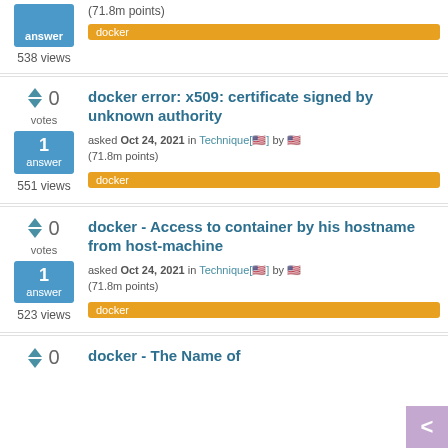(71.8m points)
docker
538 views
docker error: x509: certificate signed by unknown authority
asked Oct 24, 2021 in Technique by (71.8m points)
docker
551 views
docker - Access to container by his hostname from host-machine
asked Oct 24, 2021 in Technique by (71.8m points)
docker
523 views
docker - The Name of